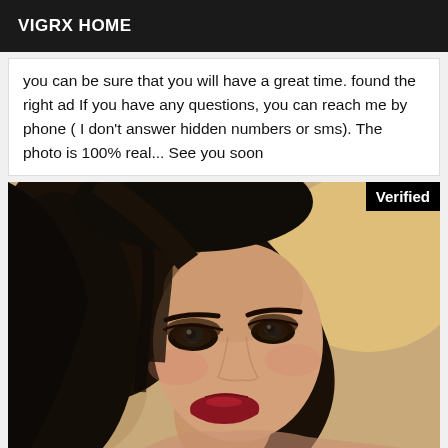VIGRX HOME
you can be sure that you will have a great time. found the right ad If you have any questions, you can reach me by phone ( I don't answer hidden numbers or sms). The photo is 100% real... See you soon
[Figure (photo): Close-up portrait photo of a woman with dark hair, heavy eye makeup, and red lips. A 'Verified' badge appears in the top-right corner of the image.]